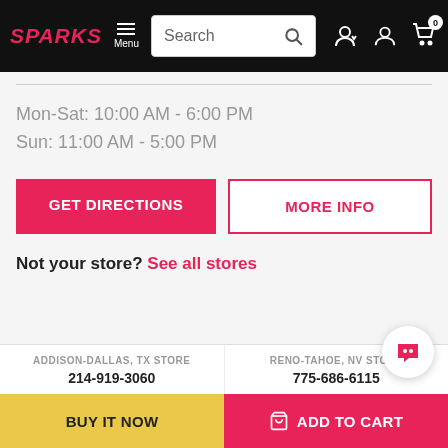SPARKS | Menu | Search
Mon-Sat: 10:00 AM - 6:00 PM
Sun: 11:00 AM - 5:00 PM
GET DIRECTIONS | MORE INFO
Not your store? See all stores
ADDISON-DALLAS, TX STORE
214-919-3060
RENO-TAHOE, NV STORE
775-686-6115
BUY IT NOW | ADD TO CART